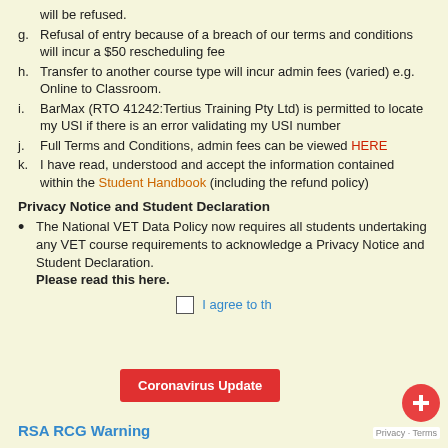will be refused.
g. Refusal of entry because of a breach of our terms and conditions will incur a $50 rescheduling fee
h. Transfer to another course type will incur admin fees (varied) e.g. Online to Classroom.
i. BarMax (RTO 41242:Tertius Training Pty Ltd) is permitted to locate my USI if there is an error validating my USI number
j. Full Terms and Conditions, admin fees can be viewed HERE
k. I have read, understood and accept the information contained within the Student Handbook (including the refund policy)
Privacy Notice and Student Declaration
The National VET Data Policy now requires all students undertaking any VET course requirements to acknowledge a Privacy Notice and Student Declaration. Please read this here.
I agree to th...
RSA RCG Warning